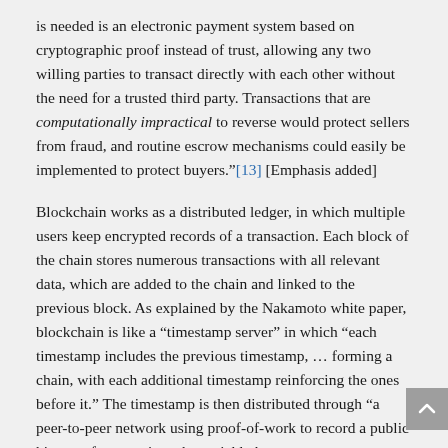is needed is an electronic payment system based on cryptographic proof instead of trust, allowing any two willing parties to transact directly with each other without the need for a trusted third party. Transactions that are computationally impractical to reverse would protect sellers from fraud, and routine escrow mechanisms could easily be implemented to protect buyers."[13] [Emphasis added]
Blockchain works as a distributed ledger, in which multiple users keep encrypted records of a transaction. Each block of the chain stores numerous transactions with all relevant data, which are added to the chain and linked to the previous block. As explained by the Nakamoto white paper, blockchain is like a "timestamp server" in which "each timestamp includes the previous timestamp, ... forming a chain, with each additional timestamp reinforcing the ones before it." The timestamp is then distributed through "a peer-to-peer network using proof-of-work to record a public history of transactions that quickly becomes computationally impractical for an attacker to change."[14]